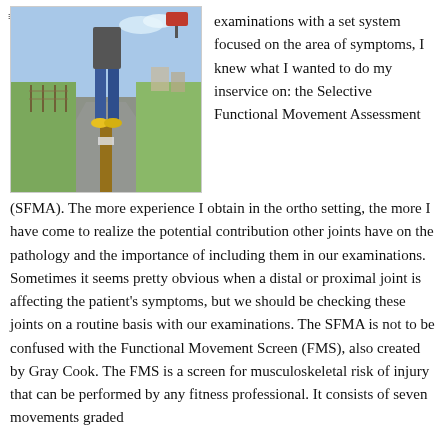[Figure (photo): A person standing on a wooden post along a rural roadside, wearing jeans and yellow shoes, with green fields and a road in the background.]
examinations with a set system focused on the area of symptoms, I knew what I wanted to do my inservice on: the Selective Functional Movement Assessment (SFMA). The more experience I obtain in the ortho setting, the more I have come to realize the potential contribution other joints have on the pathology and the importance of including them in our examinations. Sometimes it seems pretty obvious when a distal or proximal joint is affecting the patient's symptoms, but we should be checking these joints on a routine basis with our examinations. The SFMA is not to be confused with the Functional Movement Screen (FMS), also created by Gray Cook. The FMS is a screen for musculoskeletal risk of injury that can be performed by any fitness professional. It consists of seven movements graded